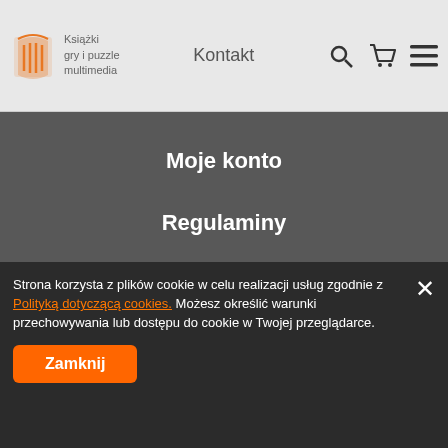MATFEL — Książki, gry i puzzle, multimedia | Kontakt
Moje konto
Regulaminy
MOJE KONTO
[Figure (logo): Powered by IdoSell. logo badge with white background and rounded corners]
Strona korzysta z plików cookie w celu realizacji usług zgodnie z Polityką dotyczącą cookies. Możesz określić warunki przechowywania lub dostępu do cookie w Twojej przeglądarce.
Zamknij